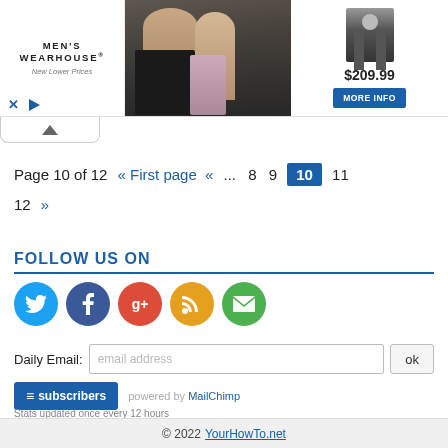[Figure (screenshot): Men's Wearhouse advertisement banner showing a couple in formal wear, a suit product image, price $209.99, and a More Info button]
Page 10 of 12  « First page  «  ...  8  9  10  11  12  »
FOLLOW US ON
[Figure (infographic): Social media icons: Twitter (blue), Facebook (dark blue), Google+ (red), RSS (orange), Email (green)]
Daily Email: email address  ok
subscribers  powered by MailChimp
Stats updated once every 12 hours
© 2022 YourHowTo.net